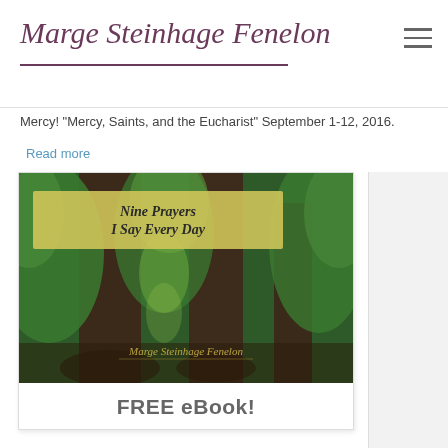Marge Steinhage Fenelon
Mercy! "Mercy, Saints, and the Eucharist" September 1-12, 2016.
Read more
[Figure (photo): Book cover for 'Nine Prayers I Say Every Day' by Marge Steinhage Fenelon, featuring tall trees in a forest with a golden yellow title banner overlay]
FREE eBook!